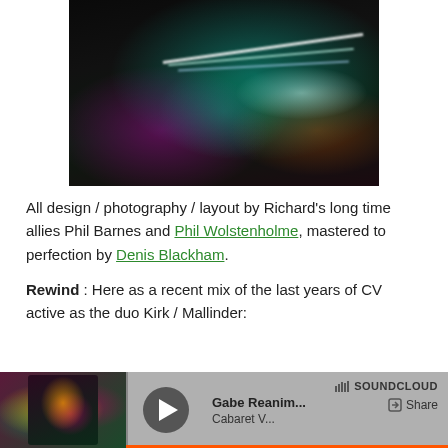[Figure (photo): Abstract night photography with colorful light streaks and neon colors over a dark urban scene]
All design / photography / layout by Richard's long time allies Phil Barnes and Phil Wolstenholme, mastered to perfection by Denis Blackham.
Rewind : Here as a recent mix of the last years of CV active as the duo Kirk / Mallinder:
[Figure (screenshot): SoundCloud embedded player showing Gabe Reanim... / Cabaret V with play button and Share option]